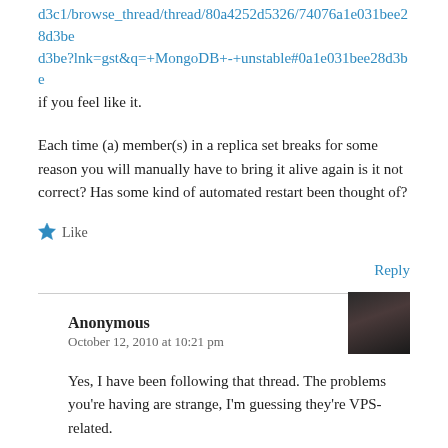d3c1/browse_thread/thread/80a4252d5326/74076a1e031bee28d3be?lnk=gst&q=+MongoDB+-+unstable#0a1e031bee28d3be if you feel like it.
Each time (a) member(s) in a replica set breaks for some reason you will manually have to bring it alive again is it not correct? Has some kind of automated restart been thought of?
Like
Reply
Anonymous
October 12, 2010 at 10:21 pm
Yes, I have been following that thread. The problems you're having are strange, I'm guessing they're VPS-related.